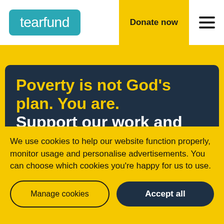[Figure (logo): Tearfund logo — white text on teal/cyan rounded rectangle]
Donate now
Poverty is not God’s plan. You are. Support our work and change lives
We use cookies to help our website function properly, monitor usage and personalise advertisements. You can choose which cookies you’re happy for us to use.
Manage cookies
Accept all